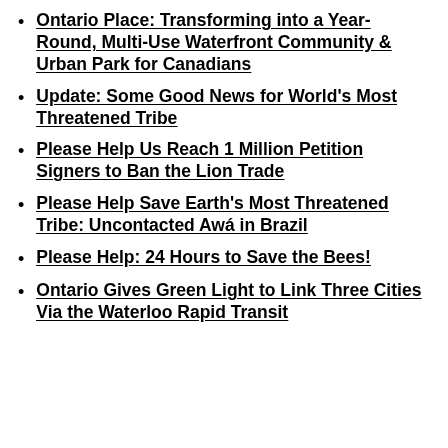Ontario Place: Transforming into a Year-Round, Multi-Use Waterfront Community & Urban Park for Canadians
Update: Some Good News for World's Most Threatened Tribe
Please Help Us Reach 1 Million Petition Signers to Ban the Lion Trade
Please Help Save Earth's Most Threatened Tribe: Uncontacted Awá in Brazil
Please Help: 24 Hours to Save the Bees!
Ontario Gives Green Light to Link Three Cities Via the Waterloo Rapid Transit